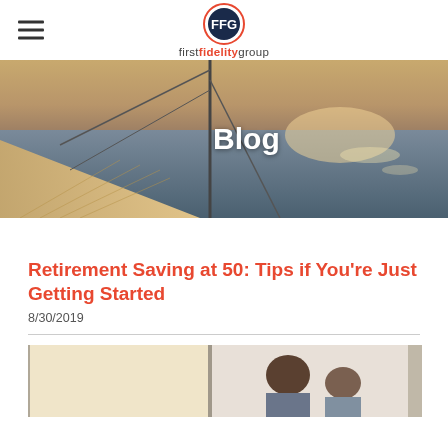firstfidelitygroup logo and navigation
[Figure (photo): Sailboat deck with ocean view at sunset, with 'Blog' text overlay]
Retirement Saving at 50: Tips if You're Just Getting Started
8/30/2019
[Figure (photo): Couple looking at documents near a window, partially visible]